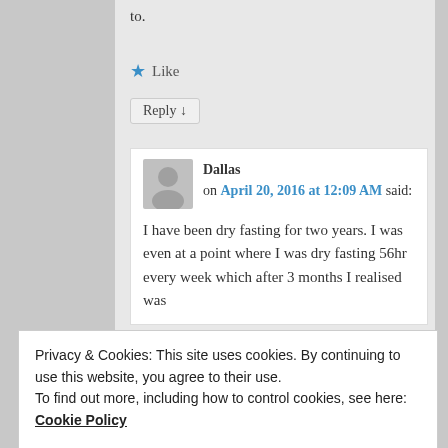to.
★ Like
Reply ↓
Dallas on April 20, 2016 at 12:09 AM said: I have been dry fasting for two years. I was even at a point where I was dry fasting 56hr every week which after 3 months I realised was
Privacy & Cookies: This site uses cookies. By continuing to use this website, you agree to their use. To find out more, including how to control cookies, see here: Cookie Policy
things which are unhealthy, which I